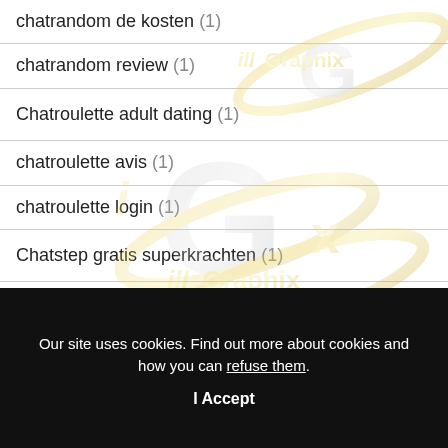chatrandom de kosten (1)
chatrandom review (1)
Chatroulette adult dating (1)
chatroulette avis (1)
chatroulette login (1)
Chatstep gratis superkrachten (1)
chatstep login (1)
Our site uses cookies. Find out more about cookies and how you can refuse them.
I Accept